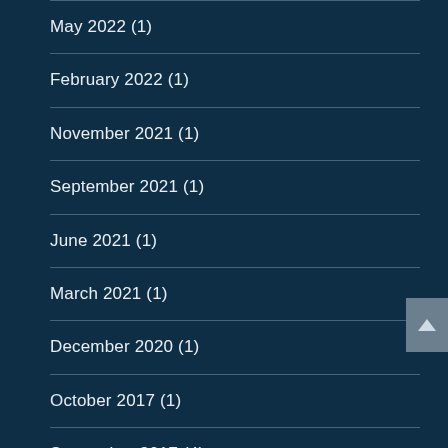May 2022 (1)
February 2022 (1)
November 2021 (1)
September 2021 (1)
June 2021 (1)
March 2021 (1)
December 2020 (1)
October 2017 (1)
September 2017 (4)
August 2017 (5)